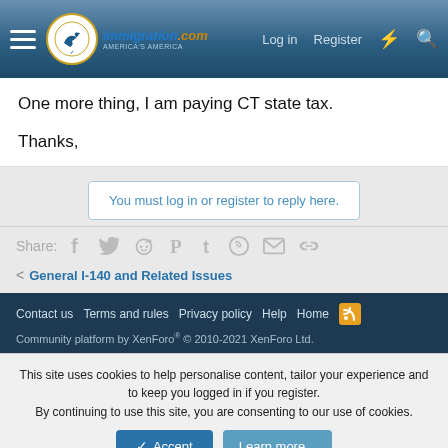immigration.com — Log in | Register
One more thing, I am paying CT state tax.

Thanks,
You must log in or register to reply here.
Share:
< General I-140 and Related Issues
Contact us  Terms and rules  Privacy policy  Help  Home
Community platform by XenForo® © 2010-2021 XenForo Ltd.
This site uses cookies to help personalise content, tailor your experience and to keep you logged in if you register. By continuing to use this site, you are consenting to our use of cookies.